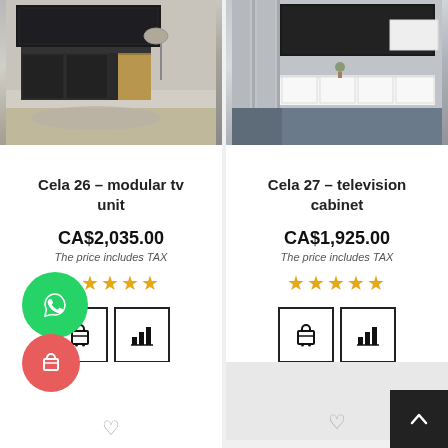[Figure (photo): Product photo of Cela 26 modular TV unit - dark/black wall-mounted TV unit in a living room]
Cela 26 - modular tv unit
CA$2,035.00
The price includes TAX
[Figure (other): 5 star rating icons in gold/orange]
[Figure (other): Add to cart icon button and compare icon button]
[Figure (photo): Product photo of Cela 27 television cabinet - white wall-mounted TV unit in a living room]
Cela 27 - television cabinet
CA$1,925.00
The price includes TAX
[Figure (other): 5 star rating icons in gold/orange]
[Figure (other): Add to cart icon button and compare icon button]
[Figure (other): WhatsApp floating green circle button]
[Figure (other): Red floating cart button]
[Figure (other): Scroll-to-top black square button]